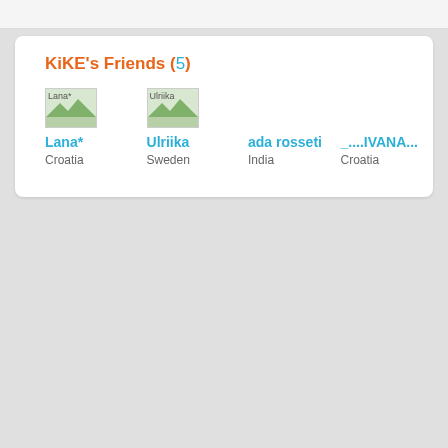KiKE's Friends (5)
Lana* — Croatia
Ulriika — Sweden
ada rosseti — India
_....IVANA... — Croatia